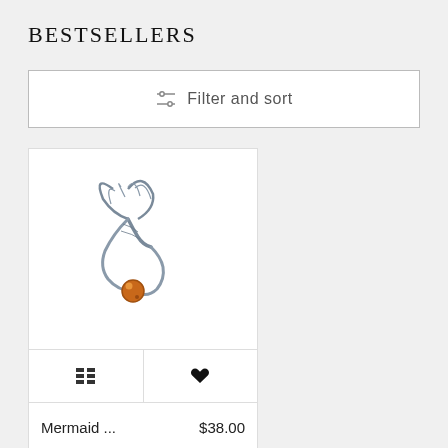BESTSELLERS
Filter and sort
[Figure (photo): A silver mermaid tail ring with an amber/orange gemstone at the base, displayed on a white background.]
Mermaid ...    $38.00